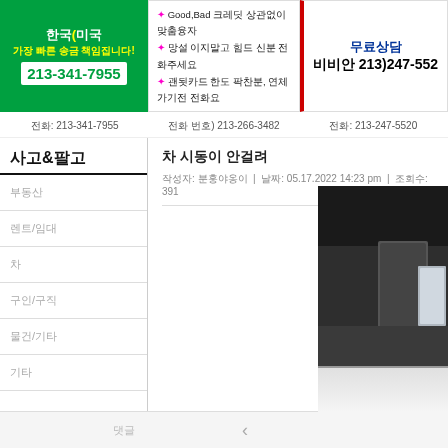[Figure (other): Green banner ad with Korean text and phone number 213-341-7955]
[Figure (other): White banner ad with Korean text about loan services and phone 213-266-3482]
[Figure (other): White banner ad with Korean text 무료상담 비비안 213-247-5520]
전화: 213-341-7955   전화 번호) 213-266-3482   전화: 213-247-5520
사고&팔고
부동산
렌트/임대
차
구인/구직
물건/기타
기타
댓글
차 시동이 안걸려
작성자: 분홍야옹이 | 날짜: 05.17.2022 14:23 pm | 조회수: 391
[Figure (photo): Photo of a car interior/window area, dark image]